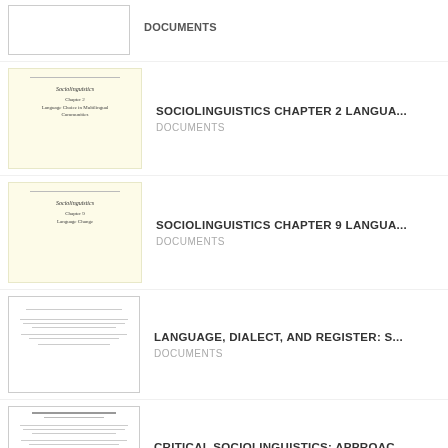[Figure (screenshot): Thumbnail of document (partial, top cut off)]
SOCIOLINGUISTICS CHAPTER 2 LANGUA...
DOCUMENTS
[Figure (screenshot): Yellow slide thumbnail: Sociolinguistics Chapter 2 Language Choice in Multilingual Communities]
SOCIOLINGUISTICS CHAPTER 2 LANGUA...
DOCUMENTS
[Figure (screenshot): Yellow slide thumbnail: Sociolinguistics Chapter 9 Language Change]
SOCIOLINGUISTICS CHAPTER 9 LANGUA...
DOCUMENTS
[Figure (screenshot): Document text thumbnail for Language, Dialect, and Register]
LANGUAGE, DIALECT, AND REGISTER: S...
DOCUMENTS
[Figure (screenshot): Document text thumbnail for Critical Sociolinguistics]
CRITICAL SOCIOLINGUISTICS: APPROAC...
DOCUMENTS
[Figure (screenshot): Partial thumbnail at bottom for Language, Dialect and Register]
LANGUAGE, DIALECT AND REGISTER: S...
DOCUMENTS (partial)